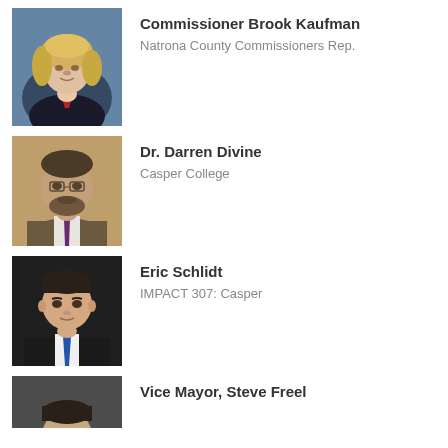[Figure (photo): Professional headshot of Commissioner Brook Kaufman, blonde woman in dark jacket]
Commissioner Brook Kaufman
Natrona County Commissioners Rep.
[Figure (photo): Professional headshot of Dr. Darren Divine, bearded man in suit with purple tie]
Dr. Darren Divine
Casper College
[Figure (photo): Professional headshot of Eric Schlidt, young man in suit with blue tie]
Eric Schlidt
IMPACT 307: Casper
[Figure (photo): Professional headshot of Vice Mayor Steve Freel, partially visible]
Vice Mayor, Steve Freel